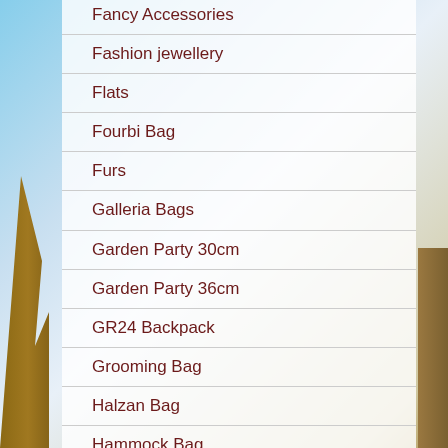Fancy Accessories
Fashion jewellery
Flats
Fourbi Bag
Furs
Galleria Bags
Garden Party 30cm
Garden Party 36cm
GR24 Backpack
Grooming Bag
Halzan Bag
Hammock Bag